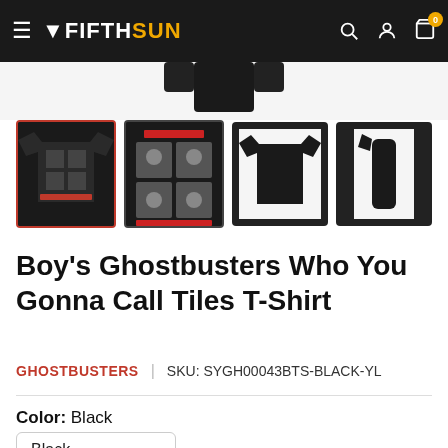Fifth Sun — navigation header with hamburger menu, logo, search, account, and cart icons
[Figure (screenshot): Thumbnail strip of 4 product images for Boy's Ghostbusters Who You Gonna Call Tiles T-Shirt. First thumbnail selected (red border) showing front of black t-shirt with Ghostbusters graphic. Second showing close-up of graphic. Third showing plain black t-shirt front. Fourth showing plain black t-shirt side.]
Boy's Ghostbusters Who You Gonna Call Tiles T-Shirt
GHOSTBUSTERS | SKU: SYGH00043BTS-BLACK-YL
Color:  Black
Black